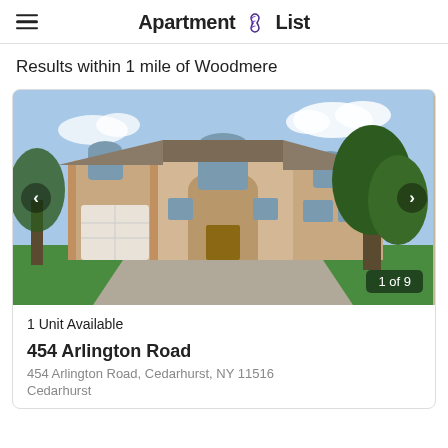Apartment List
Results within 1 mile of Woodmere
[Figure (photo): Exterior photo of a large two-story beige stucco house with arched windows, a white garage door, circular driveway, and green lawn. Navigation arrows on left and right. Counter shows '1 of 9' in lower right corner.]
1 Unit Available
454 Arlington Road
454 Arlington Road, Cedarhurst, NY 11516
Cedarhurst